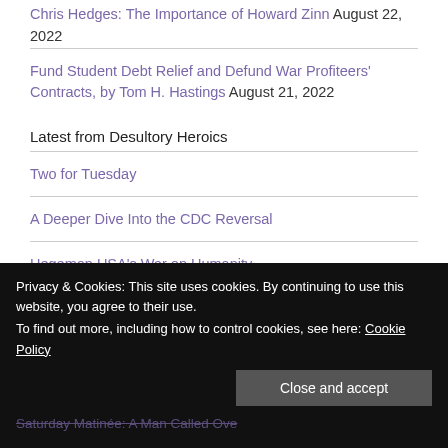Chris Hedges: The Importance of Howard Zinn August 22, 2022
Fund Student Debt Relief and Defund War Profiteers' Contracts, by Tom H. Hastings August 21, 2022
Latest from Desultory Heroics
Two for Tuesday
A Deeper Dive Into the CDC Reversal
Hegemon USA's War on Humanity
Saturday Matinée: A Man Called Ove
Privacy & Cookies: This site uses cookies. By continuing to use this website, you agree to their use. To find out more, including how to control cookies, see here: Cookie Policy